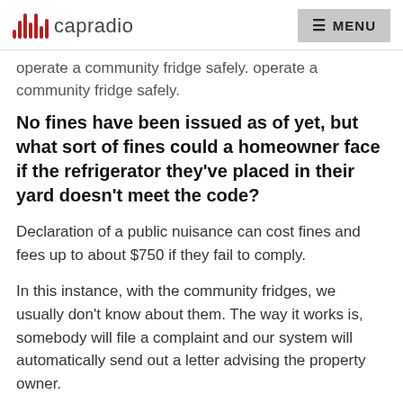capradio  MENU
operate a community fridge safely.
No fines have been issued as of yet, but what sort of fines could a homeowner face if the refrigerator they've placed in their yard doesn't meet the code?
Declaration of a public nuisance can cost fines and fees up to about $750 if they fail to comply.
In this instance, with the community fridges, we usually don't know about them. The way it works is, somebody will file a complaint and our system will automatically send out a letter advising the property owner.
Usually, the operator will call inquiring about the